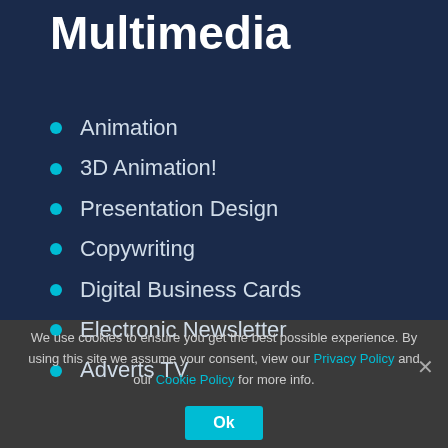Multimedia
Animation
3D Animation!
Presentation Design
Copywriting
Digital Business Cards
Electronic Newsletter
Adverts TV
We use cookies to ensure you get the best possible experience. By using this site we assume your consent, view our Privacy Policy and our Cookie Policy for more info.
Ok